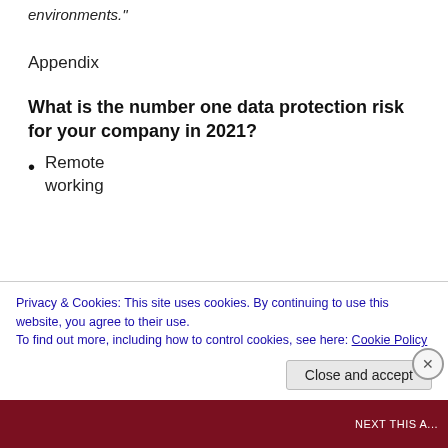environments."
Appendix
What is the number one data protection risk for your company in 2021?
Remote working
34%
Cyber-attacks
Privacy & Cookies: This site uses cookies. By continuing to use this website, you agree to their use.
To find out more, including how to control cookies, see here: Cookie Policy